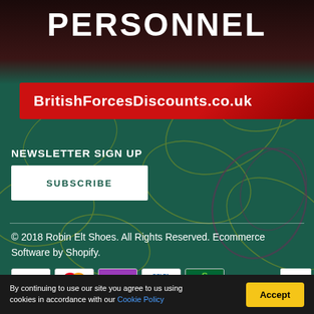[Figure (screenshot): Dark background top section with decorative leaf pattern and 'PERSONNEL' text in large white bold uppercase letters]
BritishForcesDiscounts.co.uk
NEWSLETTER SIGN UP
SUBSCRIBE
© 2018 Robin Elt Shoes. All Rights Reserved. Ecommerce Software by Shopify.
[Figure (other): Payment method icons: Visa, MasterCard, Solo, Delta, Switch]
By continuing to use our site you agree to us using cookies in accordance with our Cookie Policy
Accept